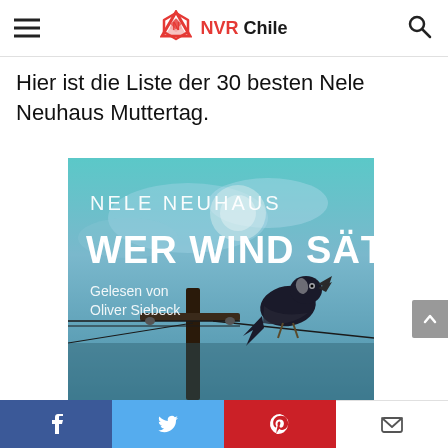NVR Chile
Hier ist die Liste der 30 besten Nele Neuhaus Muttertag.
[Figure (photo): Book cover of 'Wer Wind Sät' by Nele Neuhaus, an audiobook read by Oliver Siebeck. Teal/blue background with a crow perched on a utility pole. Text: NELE NEUHAUS, WER WIND SÄT, Gelesen von Oliver Siebeck.]
Facebook | Twitter | Pinterest | Email